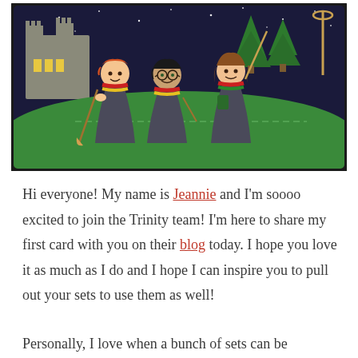[Figure (illustration): A hand-made greeting card illustration showing three cartoon characters styled as Harry Potter characters (Ron, Harry, Hermione) in Hogwarts robes and scarves, standing on green grass with a castle and Christmas trees in the background against a night sky with stars.]
Hi everyone! My name is Jeannie and I'm soooo excited to join the Trinity team! I'm here to share my first card with you on their blog today. I hope you love it as much as I do and I hope I can inspire you to pull out your sets to use them as well!
Personally, I love when a bunch of sets can be